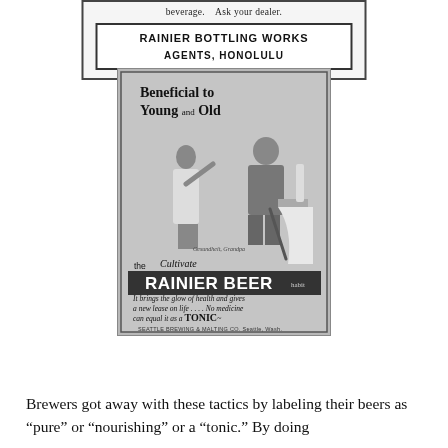[Figure (photo): Top portion of an old advertisement showing text 'beverage. Ask your dealer.' with a boxed imprint reading 'RAINIER BOTTLING WORKS AGENTS, HONOLULU']
[Figure (photo): Vintage Rainier Beer advertisement showing a young girl offering a drink to an elderly seated man. Text reads: 'Beneficial to Young and Old', 'Cultivate the RAINIER BEER habit', 'It brings the glow of health and gives a new lease on life.... No medicine can equal it as a TONIC', 'SEATTLE BREWING & MALTING CO. Seattle, Wash.']
Brewers got away with these tactics by labeling their beers as "pure" or "nourishing" or a "tonic." By doing